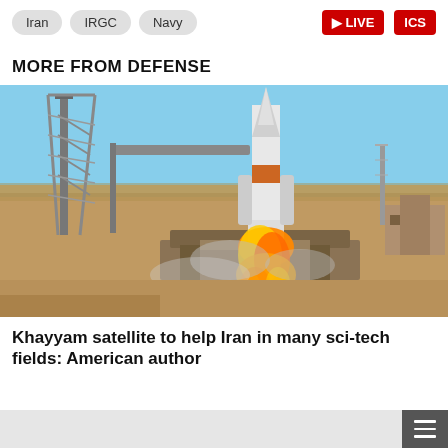Iran  IRGC  Navy  LIVE
MORE FROM DEFENSE
[Figure (photo): Rocket launch from a launch pad in an arid desert landscape. A Soyuz-type rocket with orange and white markings lifts off with a large plume of fire. Metal launch towers and support structures are visible around the rocket.]
Khayyam satellite to help Iran in many sci-tech fields: American author